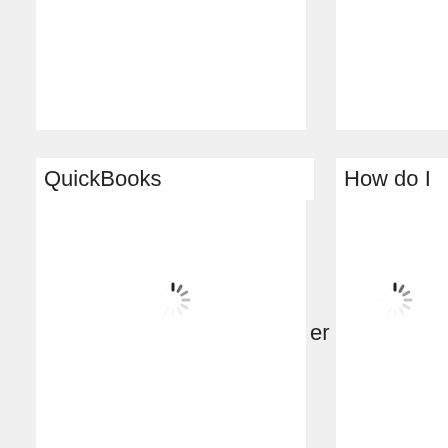[Figure (screenshot): Three-column card layout showing a web interface. Top portion shows thumbnail images (partially visible). The third column thumbnail shows a screenshot of an Excel spreadsheet. Below each thumbnail is a card label and a loading spinner. Column 1 is labeled 'QuickBooks', column 2 is labeled 'How do I', column 3 is labeled 'Excel emp ales'. Loading spinners appear in each column card body.]
QuickBooks
How do I
Excel
emp
ales
er